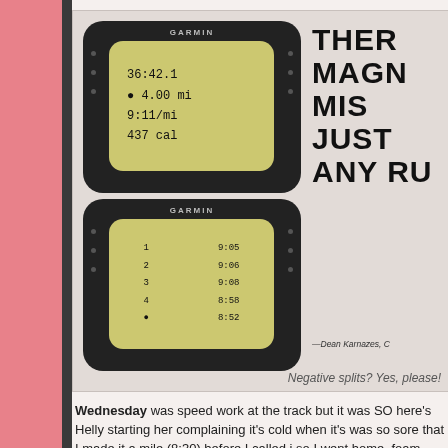[Figure (photo): Two Garmin GPS running watches showing workout data: top watch displays 36:42.1, 4.00 mi, 9:11/mi, 437 cal; bottom watch shows split data. Next to the watches is a motivational running quote partially visible: 'THER MAGN MIS JUST ANY RU' attributed to Dean Karnazes.]
Negative splits? Yes, please!
Wednesday was speed work at the track but it was SO here's Helly starting her complaining it's cold when it's was so sore that I made it a mile (8:30) before I called i so I went home, foam rolled, and stretched instead.